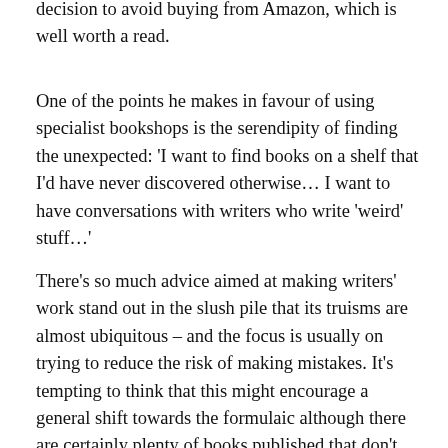decision to avoid buying from Amazon, which is well worth a read.
One of the points he makes in favour of using specialist bookshops is the serendipity of finding the unexpected: 'I want to find books on a shelf that I'd have never discovered otherwise... I want to have conversations with writers who write 'weird' stuff...'
There's so much advice aimed at making writers' work stand out in the slush pile that its truisms are almost ubiquitous – and the focus is usually on trying to reduce the risk of making mistakes. It's tempting to think that this might encourage a general shift towards the formulaic although there are certainly plenty of books published that don't follow The Rules (probably by writers lucky enough to attract attention who have either avoided the traditional sources of advice (or deliberately contradicted them). And established writers potentially